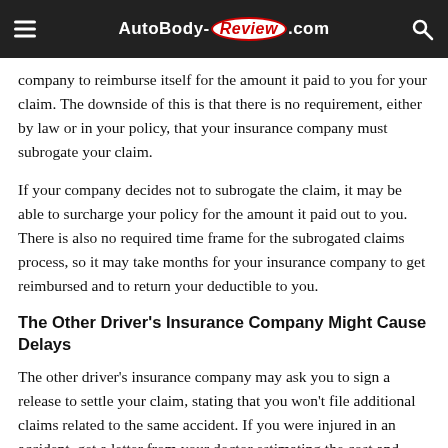AutoBody-Review.com
company to reimburse itself for the amount it paid to you for your claim. The downside of this is that there is no requirement, either by law or in your policy, that your insurance company must subrogate your claim.
If your company decides not to subrogate the claim, it may be able to surcharge your policy for the amount it paid out to you. There is also no required time frame for the subrogated claims process, so it may take months for your insurance company to get reimbursed and to return your deductible to you.
The Other Driver's Insurance Company Might Cause Delays
The other driver's insurance company may ask you to sign a release to settle your claim, stating that you won't file additional claims related to the same accident. If you were injured in an accident, get a letter from your doctor estimating the cost and length of your future medical treatment to decide if your settlement is fair. Don't sign a